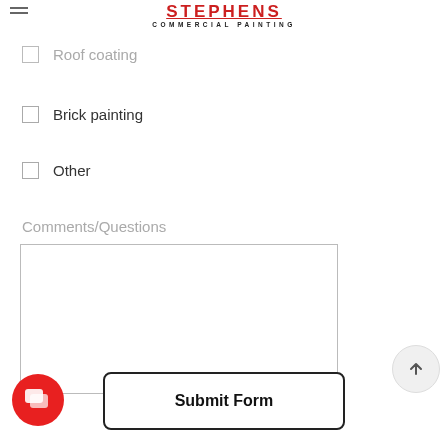STEPHENS COMMERCIAL PAINTING
Roof coating
Brick painting
Other
Comments/Questions
Submit Form